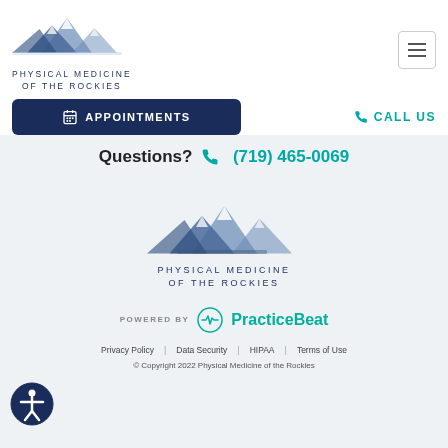[Figure (logo): Physical Medicine of the Rockies mountain logo - top left header]
[Figure (logo): Hamburger menu icon - top right]
[Figure (logo): Appointments button with calendar icon]
CALL US
Questions? (719) 465-0069
[Figure (logo): Physical Medicine of the Rockies mountain logo - center footer]
[Figure (logo): POWERED BY PracticeBeat logo]
Privacy Policy | Data Security | HIPAA | Terms of Use
© Copyright 2022 Physical Medicine of the Rockies
[Figure (logo): Accessibility icon - bottom left]